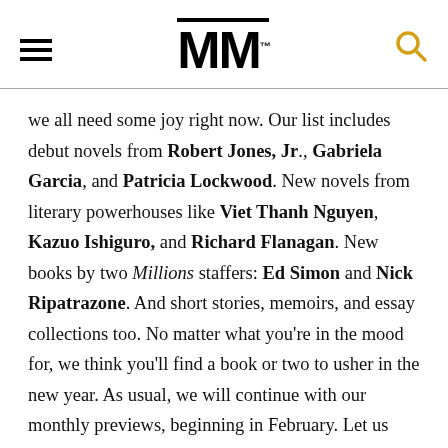[Figure (logo): The Millions website logo: hamburger menu icon on left, 'MM' bold logo in center with TM superscript, orange search icon on right]
we all need some joy right now. Our list includes debut novels from Robert Jones, Jr., Gabriela Garcia, and Patricia Lockwood. New novels from literary powerhouses like Viet Thanh Nguyen, Kazuo Ishiguro, and Richard Flanagan. New books by two Millions staffers: Ed Simon and Nick Ripatrazone. And short stories, memoirs, and essay collections too. No matter what you’re in the mood for, we think you’ll find a book or two to usher in the new year. As usual, we will continue with our monthly previews, beginning in February. Let us know in the comments what we missed, and look out for the second-half Preview in July!